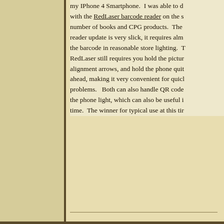my IPhone 4 Smartphone.  I was able to d with the RedLaser barcode reader on the s number of books and CPG products.  The reader update is very slick, it requires alm the barcode in reasonable store lighting.  T RedLaser still requires you hold the pictur alignment arrows, and hold the phone quit ahead, making it very convenient for quicl problems.   Both can also handle QR code the phone light, which can also be useful i time.  The winner for typical use at this ti
Posted by Franz Dill  at  7:48 PM   4 comments:
Labels: barcodes  , qr  , QR Codes
Newer Posts
Subscribe to: Posts (Atom)